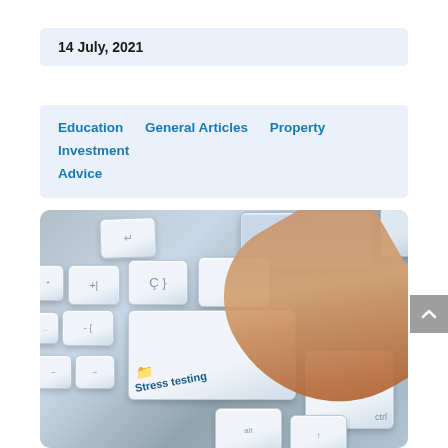14 July, 2021
Education    General Articles    Property Investment Advice
[Figure (photo): Close-up photo of a keyboard with a finger pressing a key labeled 'Stress testing' with a folder icon, on a blue-grey keyboard background.]